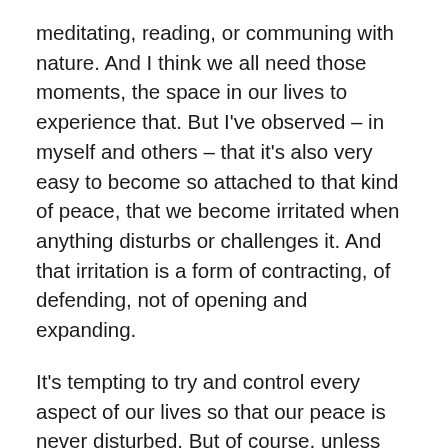meditating, reading, or communing with nature. And I think we all need those moments, the space in our lives to experience that. But I've observed – in myself and others – that it's also very easy to become so attached to that kind of peace, that we become irritated when anything disturbs or challenges it. And that irritation is a form of contracting, of defending, not of opening and expanding.
It's tempting to try and control every aspect of our lives so that our peace is never disturbed. But of course, unless you live alone in a cave, that's also completely impossible (and maybe not even then.) Learning to accept what arises, to open  to it, instead of fighting it off, is the only real path to peace. This was a big lesson for me when I became a parent, as I had been meditating daily, and undisturbed, for many years. Learning to accept whatever happened when I sat down – the possibility that my